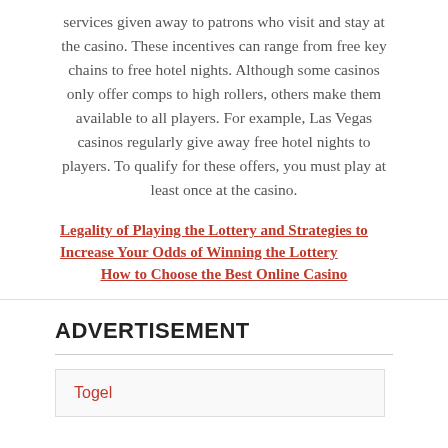services given away to patrons who visit and stay at the casino. These incentives can range from free key chains to free hotel nights. Although some casinos only offer comps to high rollers, others make them available to all players. For example, Las Vegas casinos regularly give away free hotel nights to players. To qualify for these offers, you must play at least once at the casino.
Legality of Playing the Lottery and Strategies to Increase Your Odds of Winning the Lottery
How to Choose the Best Online Casino
ADVERTISEMENT
Togel